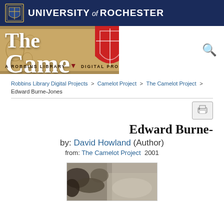UNIVERSITY of ROCHESTER
[Figure (illustration): University of Rochester crest/shield logo in blue and yellow]
[Figure (illustration): The Camelot Project banner - A Robbins Library Digital Project, with decorative medieval styling and red shield emblem]
Robbins Library Digital Projects > Camelot Project > The Camelot Project > Edward Burne-Jones
Edward Burne-Jones
by: David Howland (Author)
from: The Camelot Project  2001
[Figure (photo): Black and white photograph, appears to show foliage or natural scene]